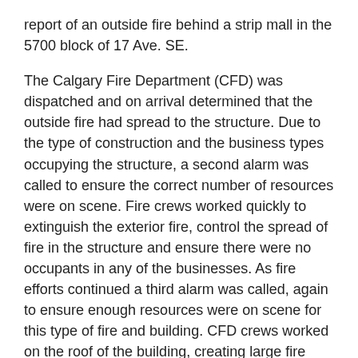report of an outside fire behind a strip mall in the 5700 block of 17 Ave. SE.
The Calgary Fire Department (CFD) was dispatched and on arrival determined that the outside fire had spread to the structure. Due to the type of construction and the business types occupying the structure, a second alarm was called to ensure the correct number of resources were on scene. Fire crews worked quickly to extinguish the exterior fire, control the spread of fire in the structure and ensure there were no occupants in any of the businesses. As fire efforts continued a third alarm was called, again to ensure enough resources were on scene for this type of fire and building. CFD crews worked on the roof of the building, creating large fire breaks to stop the spread of fire and to allow water streams to penetrate the ceiling voids which was critical to extinguishment.